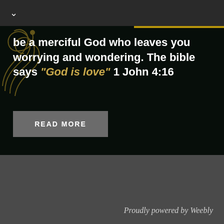∨
be a merciful God who leaves you worrying and wondering. The bible says "God is love" 1 John 4:16
READ MORE
Proudly powered by Weebly